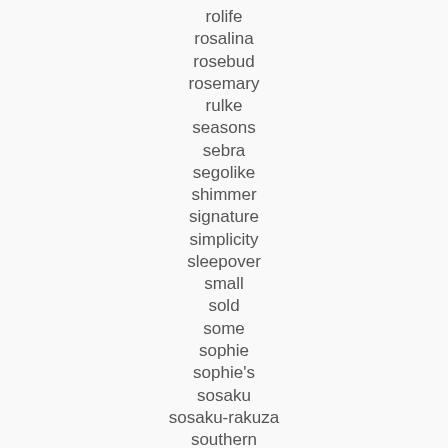rolife
rosalina
rosebud
rosemary
rulke
seasons
sebra
segolike
shimmer
signature
simplicity
sleepover
small
sold
some
sophie
sophie's
sosaku
sosaku-rakuza
southern
storey